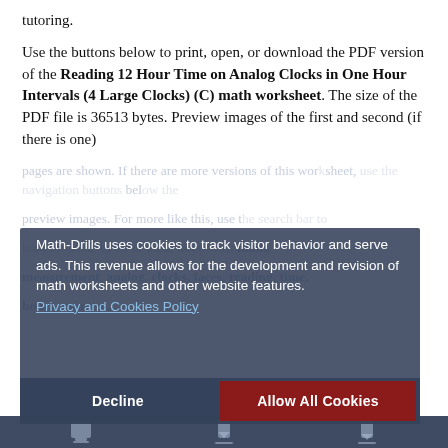tutoring.
Use the buttons below to print, open, or download the PDF version of the Reading 12 Hour Time on Analog Clocks in One Hour Intervals (4 Large Clocks) (C) math worksheet. The size of the PDF file is 36513 bytes. Preview images of the first and second (if there is one) pages are shown. If there are more versions of this worksheet, use the navigation buttons below to view them. For more like this, use the search bar to look for some or all of these keywords: math, measurement, analog, clocks, faces, reading, time, hours, minutes.
Math-Drills uses cookies to track visitor behavior and serve ads. This revenue allows for the development and revision of math worksheets and other website features.
Privacy and Cookies Policy
Decline
Allow All Cookies